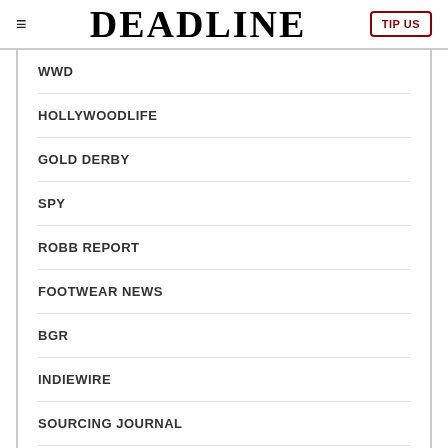DEADLINE
WWD
HOLLYWOODLIFE
GOLD DERBY
SPY
ROBB REPORT
FOOTWEAR NEWS
BGR
INDIEWIRE
SOURCING JOURNAL
TVLINE